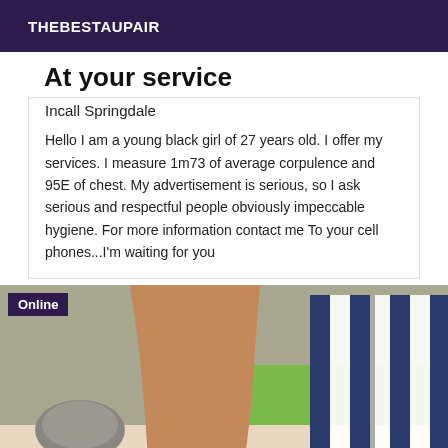THEBESTAUPAIR
At your service
Incall Springdale
Hello I am a young black girl of 27 years old. I offer my services. I measure 1m73 of average corpulence and 95E of chest. My advertisement is serious, so I ask serious and respectful people obviously impeccable hygiene. For more information contact me To your cell phones...I'm waiting for you
[Figure (photo): Outdoor photo showing legs of a person lying on a blanket on grass, with a striped umbrella and stone in the background. An 'Online' badge is overlaid in the top-left corner.]